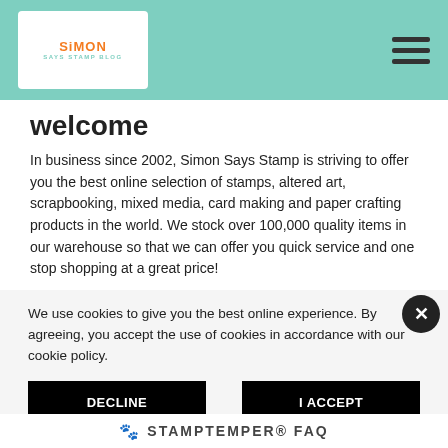Simon Says Stamp Blog
welcome
In business since 2002, Simon Says Stamp is striving to offer you the best online selection of stamps, altered art, scrapbooking, mixed media, card making and paper crafting products in the world. We stock over 100,000 quality items in our warehouse so that we can offer you quick service and one stop shopping at a great price!
We use cookies to give you the best online experience. By agreeing, you accept the use of cookies in accordance with our cookie policy.
DECLINE
I ACCEPT
Privacy Policy   Cookie Policy
STAMPTEMPER® FAQ